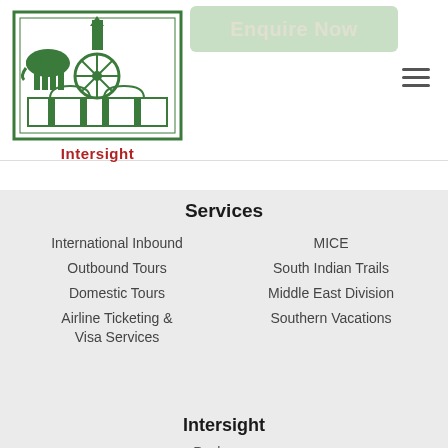[Figure (logo): Intersight travel company logo - green illustration with elephant, chariot wheel, and temple arch gateway. Text 'Intersight' in red below.]
Enquire Now
Services
International Inbound
Outbound Tours
Domestic Tours
Airline Ticketing & Visa Services
MICE
South Indian Trails
Middle East Division
Southern Vacations
Intersight
Packages
Awards And Accolades
Terms & Conditions
Privacy Policy
Follow Intersight on